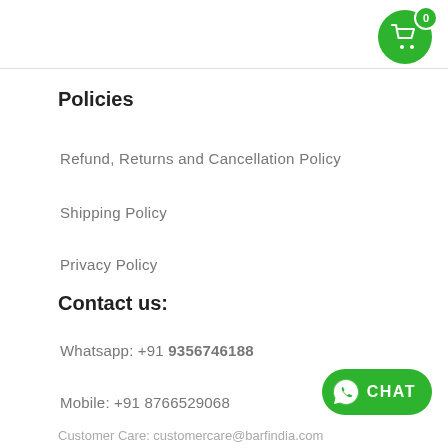[Figure (other): Shopping cart icon button in green circle with badge showing 0]
Policies
Refund, Returns and Cancellation Policy
Shipping Policy
Privacy Policy
Contact us:
Whatsapp: +91 9356746188
Mobile: +91 8766529068
[Figure (other): Green WhatsApp CHAT button]
Customer Care: customercare@barfindia.com